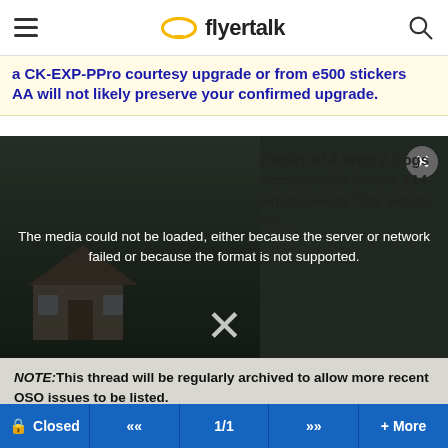flyertalk
a CK-EXP-PPro courtesy upgrade or from e500 stickers AA will not likely preserve your confirmed upgrade.
[Figure (screenshot): Video player showing a house image with error overlay: 'The media could not be loaded, either because the server or network failed or because the format is not supported.' An ad overlay on the right shows text: 'Family of 4 With 2 Dogs Accidentally Books 114-Square-Foot Tiny House for...' A large X close button is visible at bottom center, and a circular close button top right.]
NOTE:This thread will be regularly archived to allow more recent OSO issues to be listed.
Posts from 2019 can be seen in the ARCHIVE thread here.
Posts from 2018 can be seen in the ARCHIVE thread here.
Closed  <<  1/1  >>  + More